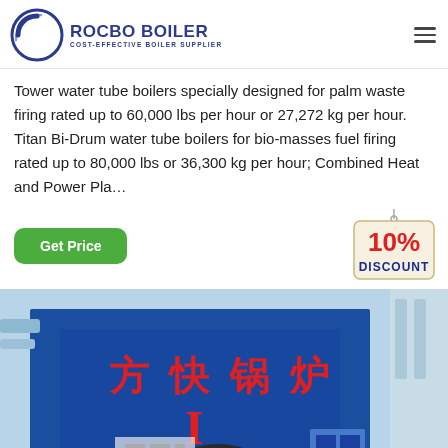[Figure (logo): Rocbo Boiler logo with circular arc icon and text 'ROCBO BOILER' and subtitle 'COST-EFFECTIVE BOILER SUPPLIER']
Tower water tube boilers specially designed for palm waste firing rated up to 60,000 lbs per hour or 27,272 kg per hour. Titan Bi-Drum water tube boilers for bio-masses fuel firing rated up to 80,000 lbs or 36,300 kg per hour; Combined Heat and Power Pla...
[Figure (illustration): 10% DISCOUNT badge - a hanging tag graphic with '10%' in red bold text and 'DISCOUNT' in blue bold text on a cream/beige background]
[Figure (photo): Industrial boiler room photo showing a large blue boiler with Chinese characters '方快锅炉' (Fangkuai Boiler) in red, with a red burner unit at the front and industrial piping and equipment surrounding it]